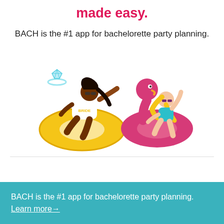made easy.
BACH is the #1 app for bachelorette party planning.
[Figure (illustration): Two illustrated women on pool floats: one dark-haired woman in a white 'BRIDE' swimsuit on a yellow donut float with a large diamond ring decoration, and one blonde woman in a teal bikini on a pink flamingo float.]
BACH is the #1 app for bachelorette party planning. Learn more →